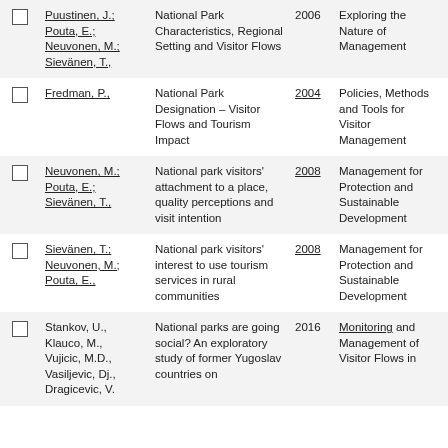|  | Authors | Title | Year | Topic | Proc |
| --- | --- | --- | --- | --- | --- |
| ☐ | Puustinen, J.; Pouta, E.; Neuvonen, M.; Sievänen, T., | National Park Characteristics, Regional Setting and Visitor Flows | 2006 | Exploring the Nature of Management | MMV Proc |
| ☐ | Fredman, P., | National Park Designation – Visitor Flows and Tourism Impact | 2004 | Policies, Methods and Tools for Visitor Management | MMV Proc |
| ☐ | Neuvonen, M.; Pouta, E.; Sievänen, T., | National park visitors' attachment to a place, quality perceptions and visit intention | 2008 | Management for Protection and Sustainable Development | MMV Proc |
| ☐ | Sievänen, T.; Neuvonen, M.; Pouta, E., | National park visitors' interest to use tourism services in rural communities | 2008 | Management for Protection and Sustainable Development | MMV Proc |
| ☐ | Stankov, U., Klauco, M., Vujicic, M.D., Vasiljevic, Dj., Dragicevic, V. | National parks are going social? An exploratory study of former Yugoslav countries on | 2016 | Monitoring and Management of Visitor Flows in | MMV Proc |